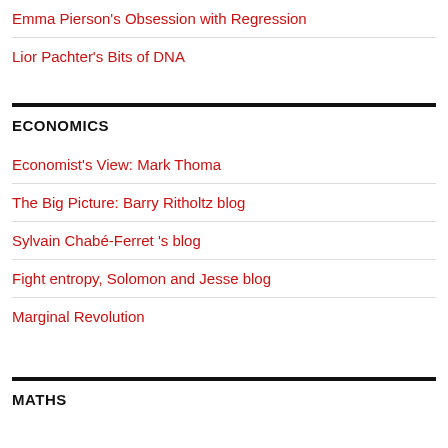Emma Pierson's Obsession with Regression
Lior Pachter's Bits of DNA
ECONOMICS
Economist's View: Mark Thoma
The Big Picture: Barry Ritholtz blog
Sylvain Chabé-Ferret 's blog
Fight entropy, Solomon and Jesse blog
Marginal Revolution
MATHS